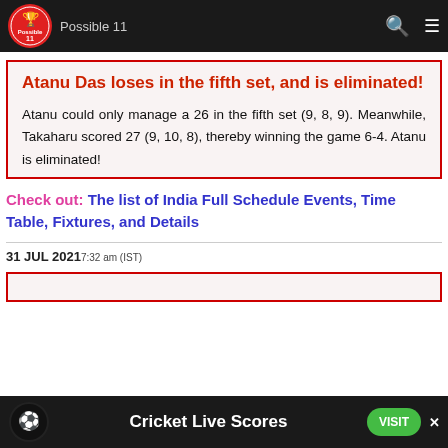Possible 11 [logo] [search icon] [menu icon]
Atanu Das loses in the fifth set, and is eliminated!
Atanu could only manage a 26 in the fifth set (9, 8, 9). Meanwhile, Takaharu scored 27 (9, 10, 8), thereby winning the game 6-4. Atanu is eliminated!
Check out: The list of India Full Schedule Events, Time Table, Fixtures, and Details
31 JUL 2021 7:32 am (IST)
[Figure (other): Advertisement banner: Cricket Live Scores - TheTopBookies, with VISIT button]